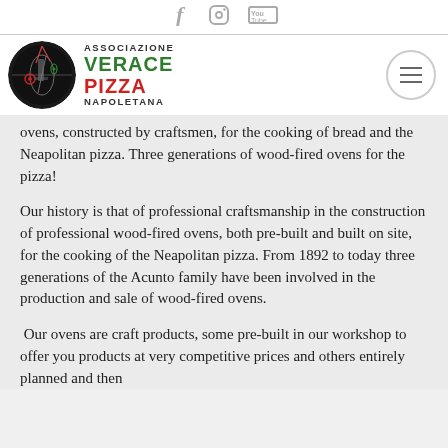Social icons: Facebook, Instagram, YouTube
[Figure (logo): Associazione Verace Pizza Napoletana logo with circular emblem and text]
ovens, constructed by craftsmen, for the cooking of bread and the Neapolitan pizza. Three generations of wood-fired ovens for the pizza!
Our history is that of professional craftsmanship in the construction of professional wood-fired ovens, both pre-built and built on site, for the cooking of the Neapolitan pizza. From 1892 to today three generations of the Acunto family have been involved in the production and sale of wood-fired ovens.
Our ovens are craft products, some pre-built in our workshop to offer you products at very competitive prices and others entirely planned and then...